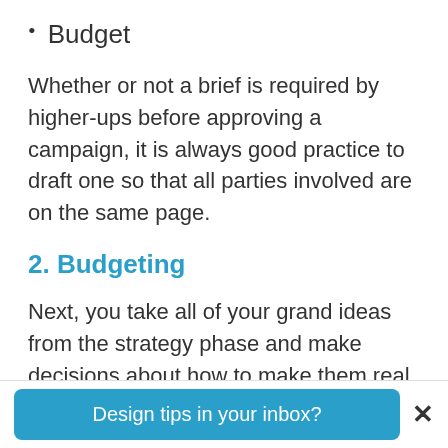Budget
Whether or not a brief is required by higher-ups before approving a campaign, it is always good practice to draft one so that all parties involved are on the same page.
2. Budgeting
Next, you take all of your grand ideas from the strategy phase and make decisions about how to make them real. Budgeting and
Design tips in your inbox?